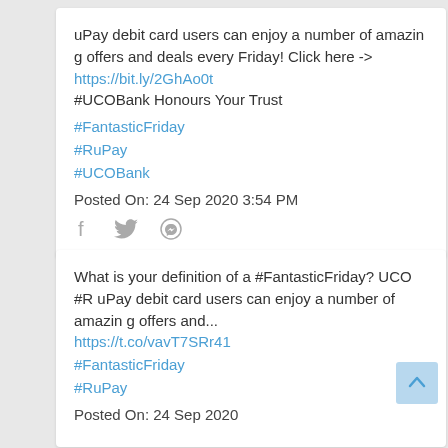uPay debit card users can enjoy a number of amazing offers and deals every Friday! Click here -> https://bit.ly/2GhAo0t #UCOBank Honours Your Trust
#FantasticFriday
#RuPay
#UCOBank
Posted On: 24 Sep 2020 3:54 PM
What is your definition of a #FantasticFriday? UCO #RuPay debit card users can enjoy a number of amazing offers and... https://t.co/vavT7SRr41
#FantasticFriday
#RuPay
Posted On: 24 Sep 2020